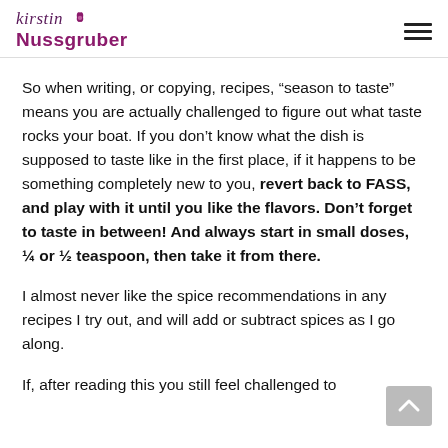Kirstin Nussgruber
So when writing, or copying, recipes, “season to taste” means you are actually challenged to figure out what taste rocks your boat. If you don’t know what the dish is supposed to taste like in the first place, if it happens to be something completely new to you, revert back to FASS, and play with it until you like the flavors. Don’t forget to taste in between! And always start in small doses, ¼ or ½ teaspoon, then take it from there.
I almost never like the spice recommendations in any recipes I try out, and will add or subtract spices as I go along.
If, after reading this you still feel challenged to